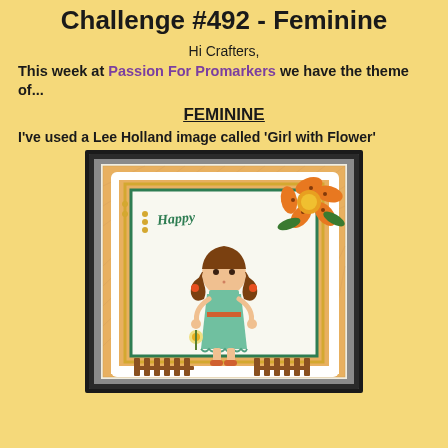Challenge #492 - Feminine
Hi Crafters,
This week at Passion For Promarkers we have the theme of...
FEMININE
I've used a Lee Holland image called 'Girl with Flower'
[Figure (photo): A handmade greeting card featuring a girl with flower stamp image by Lee Holland, with a 'Happy' die-cut sentiment, decorative orange flower embellishment, patterned paper layers in green and orange, and a fence die-cut at the bottom.]